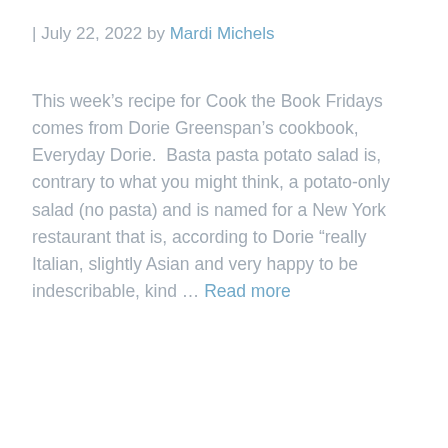| July 22, 2022 by Mardi Michels
This week’s recipe for Cook the Book Fridays comes from Dorie Greenspan’s cookbook, Everyday Dorie.  Basta pasta potato salad is, contrary to what you might think, a potato-only salad (no pasta) and is named for a New York restaurant that is, according to Dorie “really Italian, slightly Asian and very happy to be indescribable, kind … Read more